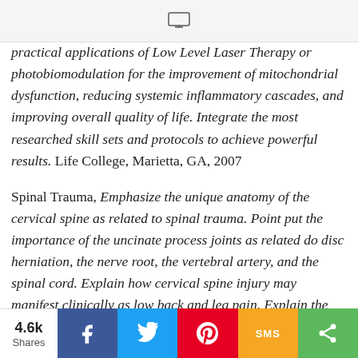[monitor icon / browser bar]
practical applications of Low Level Laser Therapy or photobiomodulation for the improvement of mitochondrial dysfunction, reducing systemic inflammatory cascades, and improving overall quality of life. Integrate the most researched skill sets and protocols to achieve powerful results. Life College, Marietta, GA, 2007
Spinal Trauma, Emphasize the unique anatomy of the cervical spine as related to spinal trauma. Point put the importance of the uncinate process joints as related do disc herniation, the nerve root, the vertebral artery, and the spinal cord. Explain how cervical spine injury may manifest clinically as low back and leg pain. Explain the influence of awareness on an impending collision and the muscles ability to protect joints.
4.6k Shares | Facebook | Twitter | Pinterest | SMS | Share